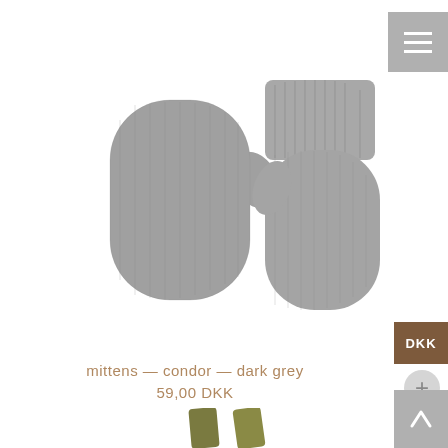[Figure (photo): Two grey knitted mittens on white background — one flat (left), one upright showing ribbed cuff (right)]
mittens — condor — dark grey
59,00 DKK
[Figure (photo): Partial view of olive/khaki coloured accessories at bottom of page]
[Figure (screenshot): Hamburger menu icon button in grey (top right)]
[Figure (screenshot): DKK currency selector button in brown (right side)]
[Figure (screenshot): Plus circle button in light grey (right side)]
[Figure (screenshot): Back to top arrow button in grey (bottom right)]